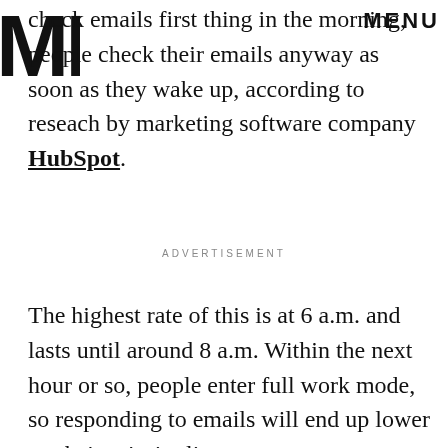MIC / MENU
check emails first thing in the morning, people check their emails anyway as soon as they wake up, according to reseach by marketing software company HubSpot.
ADVERTISEMENT
The highest rate of this is at 6 a.m. and lasts until around 8 a.m. Within the next hour or so, people enter full work mode, so responding to emails will end up lower on their priority list.